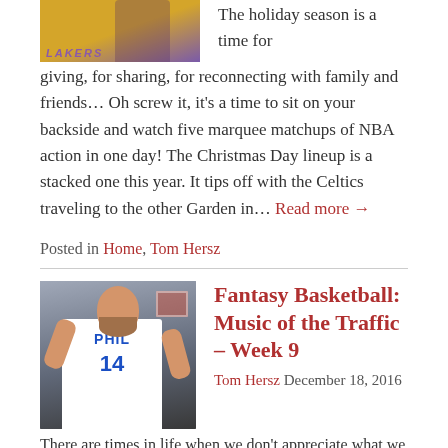[Figure (photo): Lakers basketball player in yellow uniform, partial view at top]
The holiday season is a time for giving, for sharing, for reconnecting with family and friends… Oh screw it, it's a time to sit on your backside and watch five marquee matchups of NBA action in one day! The Christmas Day lineup is a stacked one this year. It tips off with the Celtics traveling to the other Garden in… Read more →
Posted in Home, Tom Hersz
[Figure (photo): Philadelphia 76ers player #14 dribbling a basketball in a game]
Fantasy Basketball: Music of the Traffic – Week 9
Tom Hersz December 18, 2016
There are times in life when we don't appreciate what we have until it's taken away. This week